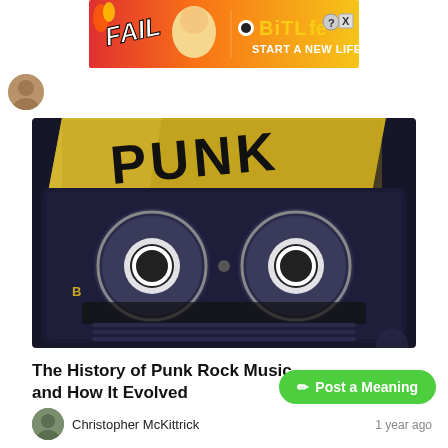[Figure (other): BitLife mobile game advertisement banner showing 'FAIL' text, animated cartoon character, and 'BitLife START A NEW LIFE' branding on orange/red gradient background]
[Figure (photo): Close-up photograph of a dark navy blue cassette tape with a torn yellow label that has 'PUNK' written on it in large black handwritten letters. The two tape reels are visible through the clear plastic window.]
The History of Punk Rock Music and How It Evolved
Christopher McKittrick
1 year ago